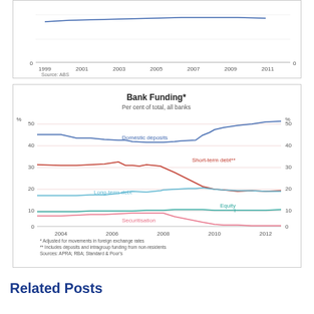[Figure (line-chart): Partial line chart visible at top of page, x-axis from 1999 to 2011, y-axis 0, source: ABS]
Source: ABS
[Figure (line-chart): Per cent of total, all banks. Lines for Domestic deposits, Short-term debt**, Long-term debt, Equity, Securitisation from 2004 to 2012.]
* Adjusted for movements in foreign exchange rates
** Includes deposits and intragroup funding from non-residents
Sources: APRA; RBA; Standard & Poor's
Related Posts